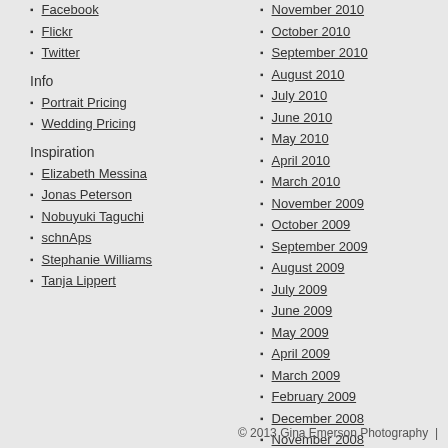Facebook
Flickr
Twitter
Info
Portrait Pricing
Wedding Pricing
Inspiration
Elizabeth Messina
Jonas Peterson
Nobuyuki Taguchi
schnAps
Stephanie Williams
Tanja Lippert
November 2010
October 2010
September 2010
August 2010
July 2010
June 2010
May 2010
April 2010
March 2010
November 2009
October 2009
September 2009
August 2009
July 2009
June 2009
May 2009
April 2009
March 2009
February 2009
December 2008
November 2008
October 2008
September 2008
© 2013 Gina Emerson Photography  |